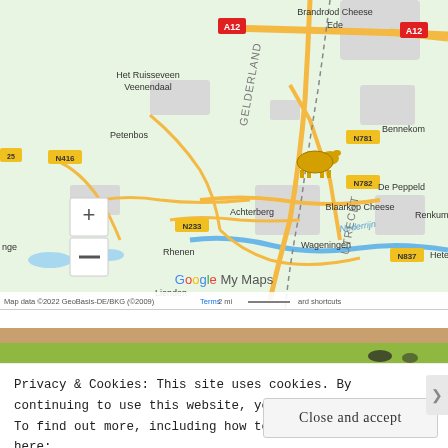[Figure (map): Google My Maps screenshot showing the Netherlands region around Wageningen, Rhenen, Bennekom, De Peppeld, Achterberg, Veenendaal, Renkum, Heteren. Roads A12, N416, N233, N781, N782, N837 are visible. A yellow cow/cheese marker labeled 'Blaarkop Cheese' is placed on the map. Also shows 'Brandrood Cheese Ede' label. Province labels UTRECHT and GELDERLAND visible. Nederrijn river shown. Zoom controls (+/-) visible. Map data copyright 2022 GeoBasis-DE/BKG (c)2009.]
Privacy & Cookies: This site uses cookies. By continuing to use this website, you agree to their use.
To find out more, including how to control cookies, see here:
Cookie Policy
Close and accept